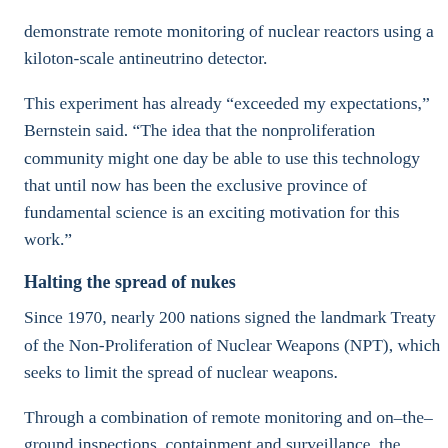demonstrate remote monitoring of nuclear reactors using a kiloton-scale antineutrino detector.
This experiment has already “exceeded my expectations,” Bernstein said. “The idea that the nonproliferation community might one day be able to use this technology that until now has been the exclusive province of fundamental science is an exciting motivation for this work.”
Halting the spread of nukes
Since 1970, nearly 200 nations signed the landmark Treaty of the Non-Proliferation of Nuclear Weapons (NPT), which seeks to limit the spread of nuclear weapons.
Through a combination of remote monitoring and on–the–ground inspections, containment and surveillance, the